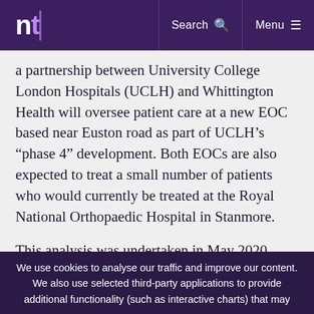nt | Search [icon] | Menu [icon]
a partnership between University College London Hospitals (UCLH) and Whittington Health will oversee patient care at a new EOC based near Euston road as part of UCLH’s “phase 4” development. Both EOCs are also expected to treat a small number of patients who would currently be treated at the Royal National Orthopaedic Hospital in Stanmore.
This analysis was undertaken in May 2020, revised in August 2020 and published by the Greater London Authority on 15 September 2020 and remains unchanged.
We use cookies to analyse our traffic and improve our content. We also use selected third-party applications to provide additional functionality (such as interactive charts) that may